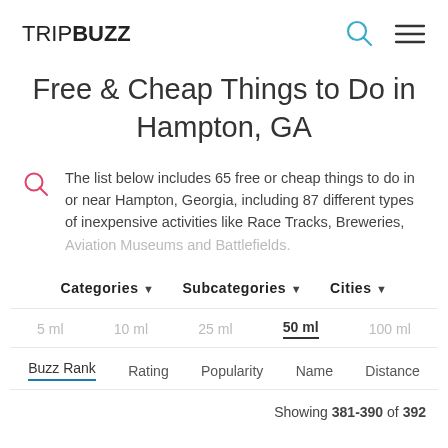TRIPBUZZ
Free & Cheap Things to Do in Hampton, GA
The list below includes 65 free or cheap things to do in or near Hampton, Georgia, including 87 different types of inexpensive activities like Race Tracks, Breweries, Aviation Museums and Battlefields.
Categories ▾   Subcategories ▾   Cities ▾
5 ml   10 ml   25 ml   50 ml   100 ml
Buzz Rank   Rating   Popularity   Name   Distance
Showing 381-390 of 392